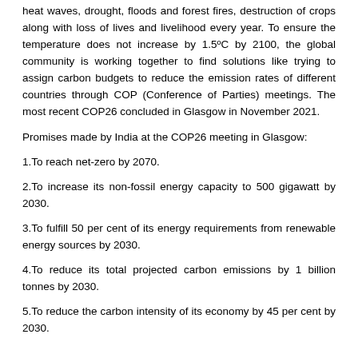heat waves, drought, floods and forest fires, destruction of crops along with loss of lives and livelihood every year. To ensure the temperature does not increase by 1.5ºC by 2100, the global community is working together to find solutions like trying to assign carbon budgets to reduce the emission rates of different countries through COP (Conference of Parties) meetings. The most recent COP26 concluded in Glasgow in November 2021.
Promises made by India at the COP26 meeting in Glasgow:
1.To reach net-zero by 2070.
2.To increase its non-fossil energy capacity to 500 gigawatt by 2030.
3.To fulfill 50 per cent of its energy requirements from renewable energy sources by 2030.
4.To reduce its total projected carbon emissions by 1 billion tonnes by 2030.
5.To reduce the carbon intensity of its economy by 45 per cent by 2030.